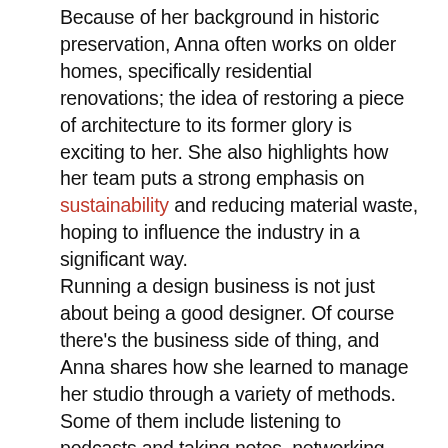Because of her background in historic preservation, Anna often works on older homes, specifically residential renovations; the idea of restoring a piece of architecture to its former glory is exciting to her. She also highlights how her team puts a strong emphasis on sustainability and reducing material waste, hoping to influence the industry in a significant way. Running a design business is not just about being a good designer. Of course there's the business side of thing, and Anna shares how she learned to manage her studio through a variety of methods. Some of them include listening to podcasts and taking notes, networking with creatives, and even starting a mastermind group to explore ideas with other designers.